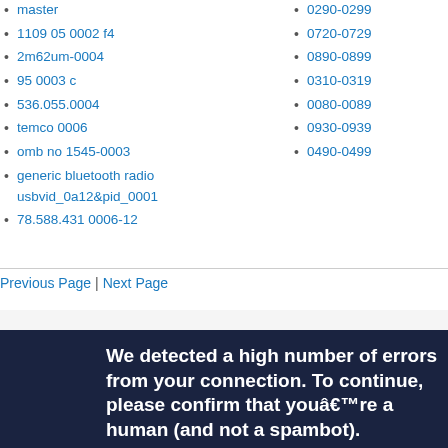master
1109 05 0002 f4
2m62um-0004
95 0003 c
536.055.0004
temco 0006
omb no 1545-0003
generic bluetooth radio usbvid_0a12&pid_0001
78.588.431 0006-12
0290-0299
0720-0729
0890-0899
0310-0319
0080-0089
0930-0939
0490-0499
Previous Page | Next Page
We detected a high number of errors from your connection. To continue, please confirm that youâ€™re a human (and not a spambot).